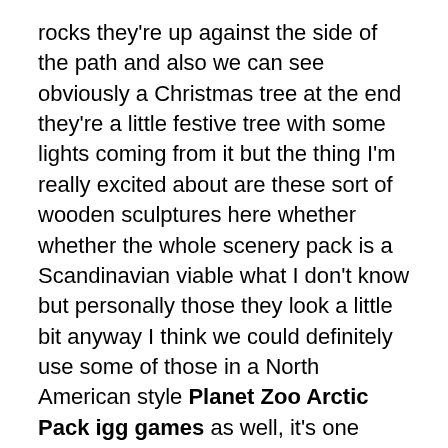rocks they're up against the side of the path and also we can see obviously a Christmas tree at the end they're a little festive tree with some lights coming from it but the thing I'm really excited about are these sort of wooden sculptures here whether whether the whole scenery pack is a Scandinavian viable what I don't know but personally those they look a little bit anyway I think we could definitely use some of those in a North American style Planet Zoo Arctic Pack igg games as well, it's one thing planet zoo or the planet series are always really good at is actually making their scenery Geo's generic enough for you to be able to use it in multiple different ideas and spaces so yeah really excited about that so for new animals 200 new scenery pieces and also two new scenarios we're not currently playing the scenarios but I know a lot of people there really enjoyed them one where you're going to be in the tundra biome of Norway